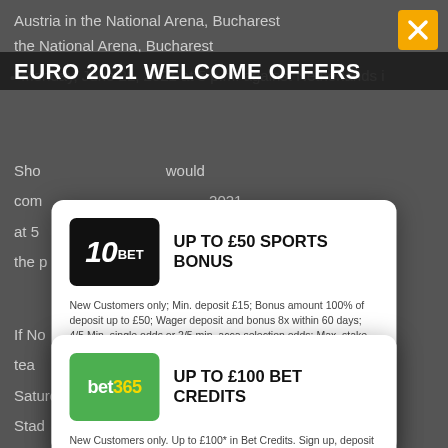Austria in the National Arena, Bucharest
EURO 2021 WELCOME OFFERS
the National Arena, Bucharest
Monday, June 21, 2021 at 5 p.m. against Netherlands i
Sho would com 2021 at 5 against the p
[Figure (logo): 10bet logo - black background with stylized 10 and BET text]
UP TO £50 SPORTS BONUS
New Customers only; Min. deposit £15; Bonus amount 100% of deposit up to £50; Wager deposit and bonus 8x within 60 days; 4/5 Min. single odds or 2/5 min. acca selection odds; Max. stake contribution equal to the initial bonus; Certain bet types and payment methods excluded; See full terms; Terms apply; 18+
GET OFFER
If No the tea on Saturday, 26 June 2024 at 5:00 against Wembley Stad
[Figure (logo): bet365 logo - green background with bet365 text]
UP TO £100 BET CREDITS
New Customers only. Up to £100* in Bet Credits. Sign up, deposit £5* or more to your account and bet365 will match your qualifying deposit in Bet Credits when you place qualifying bets to the same value and they are settled. Min
As c either hav day;